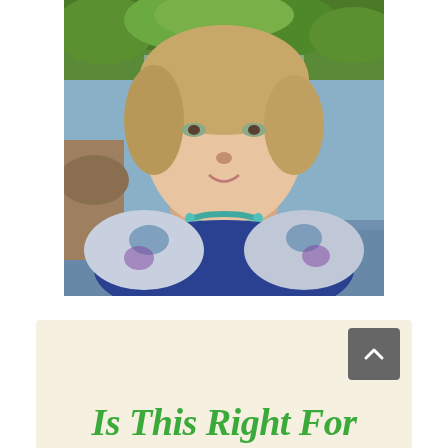[Figure (photo): Portrait photo of a middle-aged woman with shoulder-length blonde/light brown hair, smiling, wearing a turquoise beaded necklace and a decorative patterned scarf/shawl over a navy top. Background shows a natural outdoor scene with trees and a river or stream.]
[Figure (other): A scroll-to-top button (dark grey rounded rectangle with an upward chevron arrow icon)]
Is This Right For